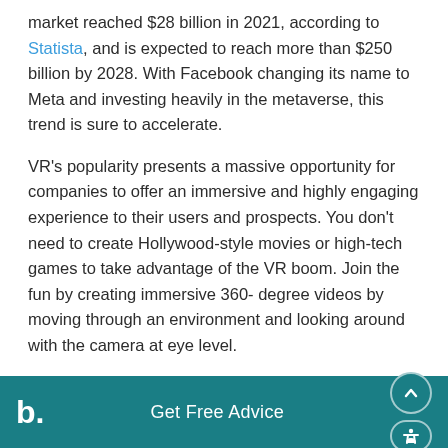market reached $28 billion in 2021, according to Statista, and is expected to reach more than $250 billion by 2028. With Facebook changing its name to Meta and investing heavily in the metaverse, this trend is sure to accelerate.
VR's popularity presents a massive opportunity for companies to offer an immersive and highly engaging experience to their users and prospects. You don't need to create Hollywood-style movies or high-tech games to take advantage of the VR boom. Join the fun by creating immersive 360-degree videos by moving through an environment and looking around with the camera at eye level.
VR is particularly effective for marketing brands in the real estate, travel or event management
b.  Get Free Advice